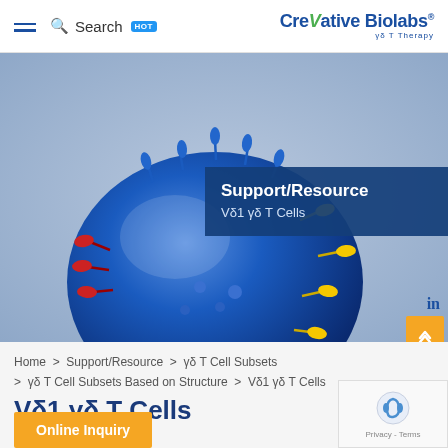Search HOT | Creative Biolabs γδ T Therapy
[Figure (illustration): 3D rendered blue T-cell with colored receptor protrusions (blue, red, yellow) on a light blue-grey background, with dark blue overlay box showing 'Support/Resource' and 'Vδ1 γδ T Cells']
Home > Support/Resource > γδ T Cell Subsets > γδ T Cell Subsets Based on Structure > Vδ1 γδ T Cells
Vδ1 γδ T Cells
Online Inquiry